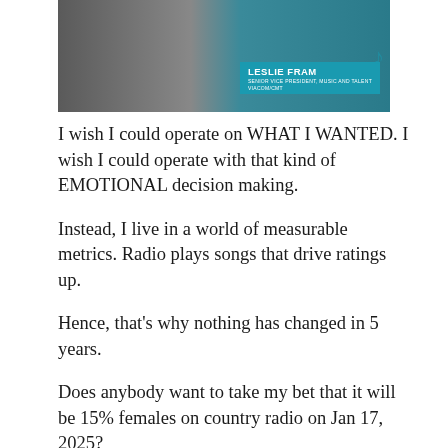[Figure (photo): Photo of Leslie Fram with a teal/blue lower-third banner reading 'LESLIE FRAM / SENIOR VICE PRESIDENT, MUSIC AND TALENT / VIACOM/CMT']
I wish I could operate on WHAT I WANTED. I wish I could operate with that kind of EMOTIONAL decision making.
Instead, I live in a world of measurable metrics. Radio plays songs that drive ratings up.
Hence, that's why nothing has changed in 5 years.
Does anybody want to take my bet that it will be 15% females on country radio on Jan 17, 2025?